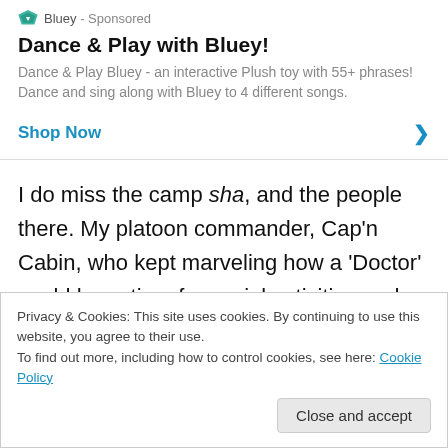[Figure (logo): Bluey diamond shield logo icon in teal/green color]
Bluey - Sponsored
Dance & Play with Bluey!
Dance & Play Bluey - an interactive Plush toy with 55+ phrases! Dance and sing along with Bluey to 4 different songs.
Shop Now
I do miss the camp sha, and the people there. My platoon commander, Cap'n Cabin, who kept marveling how a 'Doctor' could have time for social activities and why I was never in the clinic, the chap
Privacy & Cookies: This site uses cookies. By continuing to use this website, you agree to their use.
To find out more, including how to control cookies, see here: Cookie Policy
Close and accept